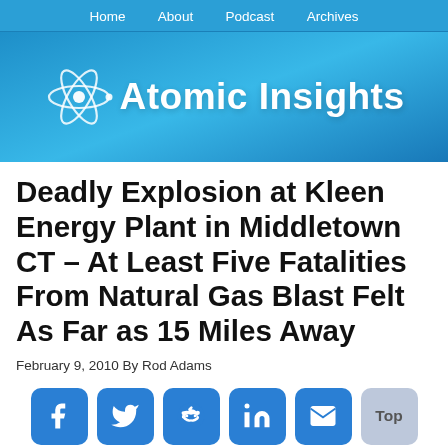Home   About   Podcast   Archives
[Figure (logo): Atomic Insights website header with atom logo and site name in white text on blue gradient background]
Deadly Explosion at Kleen Energy Plant in Middletown CT – At Least Five Fatalities From Natural Gas Blast Felt As Far as 15 Miles Away
February 9, 2010 By Rod Adams
[Figure (other): Social sharing buttons row: Facebook, Twitter, Reddit, LinkedIn, Email, and a Top button]